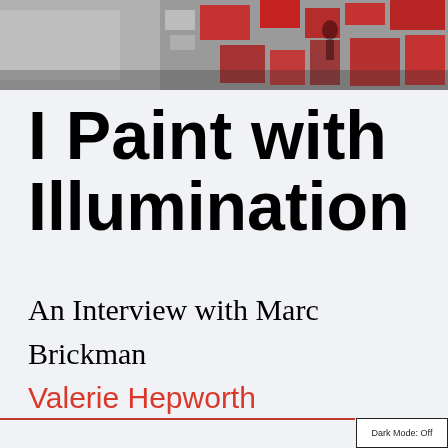[Figure (photo): Banner photo showing abstract collage with red and grey tones, figures and geometric shapes]
I Paint with Illumination
An Interview with Marc Brickman
Valerie Hepworth
Dark Mode: Off